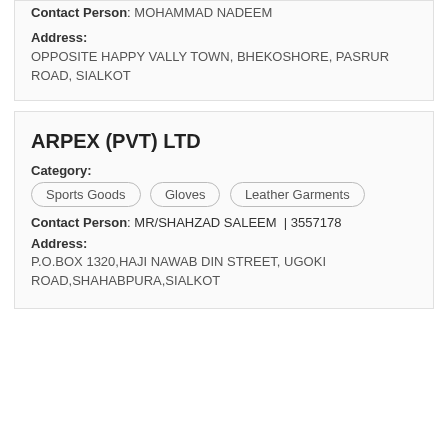Contact Person: MOHAMMAD NADEEM
Address:
OPPOSITE HAPPY VALLY TOWN, BHEKOSHORE, PASRUR ROAD, SIALKOT
ARPEX (PVT) LTD
Category:
Sports Goods
Gloves
Leather Garments
Contact Person: MR/SHAHZAD SALEEM  | 3557178
Address:
P.O.BOX 1320,HAJI NAWAB DIN STREET, UGOKI ROAD,SHAHABPURA,SIALKOT